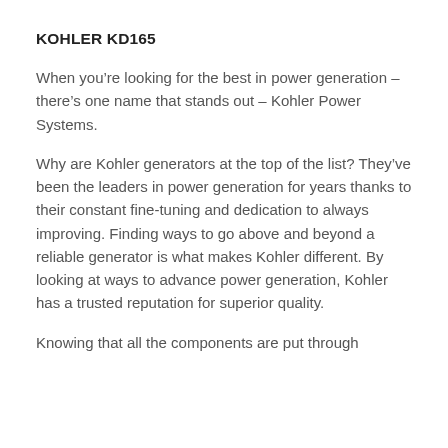KOHLER KD165
When you’re looking for the best in power generation – there’s one name that stands out – Kohler Power Systems.
Why are Kohler generators at the top of the list? They’ve been the leaders in power generation for years thanks to their constant fine-tuning and dedication to always improving. Finding ways to go above and beyond a reliable generator is what makes Kohler different. By looking at ways to advance power generation, Kohler has a trusted reputation for superior quality.
Knowing that all the components are put through